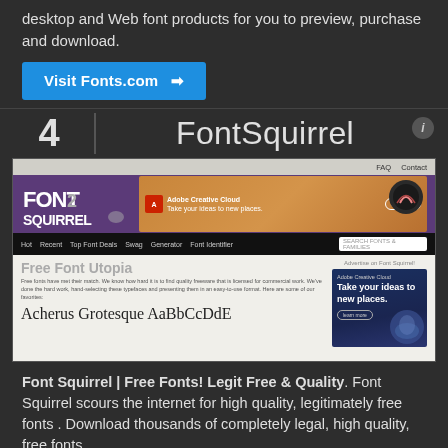desktop and Web font products for you to preview, purchase and download.
Visit Fonts.com →
4  FontSquirrel
[Figure (screenshot): Screenshot of the Font Squirrel website showing the homepage with the Font Squirrel logo, an Adobe Creative Cloud banner, navigation bar with Hot, Recent, Top Font Deals, Swag, Generator, Font Identifier, and the Free Font Utopia section with sample text 'Acherus Grotesque AaBbCcDdE']
Font Squirrel | Free Fonts! Legit Free & Quality. Font Squirrel scours the internet for high quality, legitimately free fonts . Download thousands of completely legal, high quality, free fonts